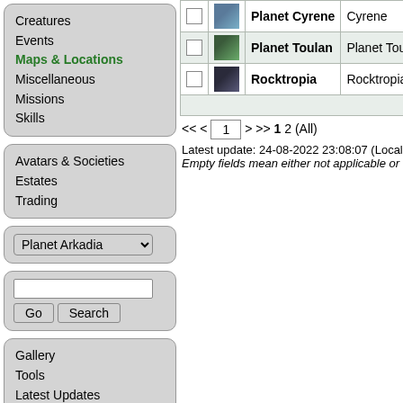Creatures
Events
Maps & Locations
Miscellaneous
Missions
Skills
Avatars & Societies
Estates
Trading
Planet Arkadia
|  |  | Name | Planet |
| --- | --- | --- | --- |
| ☐ | [img] | Planet Cyrene | Cyrene |
| ☐ | [img] | Planet Toulan | Planet Toulan |
| ☐ | [img] | Rocktropia | Rocktropia |
|  |  |  |  |
<< < 1 > >> 1 2 (All)
Latest update: 24-08-2022 23:08:07 (Local Time), Edi
Empty fields mean either not applicable or unknown v
Gallery
Tools
Latest Updates
Random Page
Forum (PCF)
Discussions
All Charts
About, Contact
Help